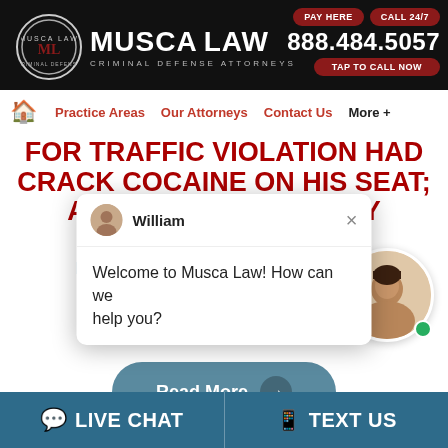MUSCA LAW CRIMINAL DEFENSE ATTORNEYS | PAY HERE | CALL 24/7 | 888.484.5057 | TAP TO CALL NOW
Practice Areas  Our Attorneys  Contact Us  More +
FOR TRAFFIC VIOLATION HAD CRACK COCAINE ON HIS SEAT; ARRESTED ON FELONY POSSESSION
[Figure (screenshot): Chat popup with agent named William saying: Welcome to Musca Law! How can we help you?]
FELONY POSSESSION OF COCAINE CHARGE DISMISSED!
Read More →
LIVE CHAT    TEXT US